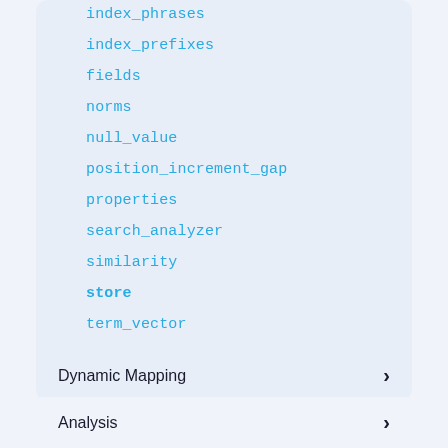index_phrases
index_prefixes
fields
norms
null_value
position_increment_gap
properties
search_analyzer
similarity
store
term_vector
Dynamic Mapping
Analysis